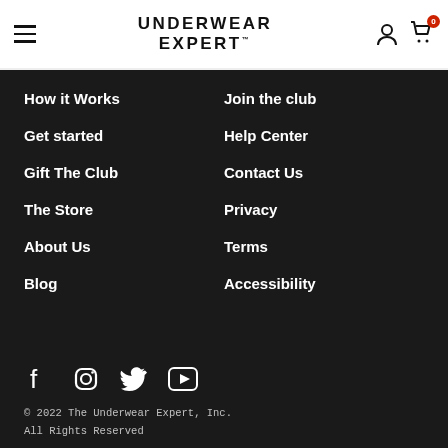UNDERWEAR EXPERT
How it Works
Join the club
Get started
Help Center
Gift The Club
Contact Us
The Store
Privacy
About Us
Terms
Blog
Accessibility
[Figure (illustration): Social media icons: Facebook, Instagram, Twitter, YouTube]
© 2022 The Underwear Expert, Inc. All Rights Reserved